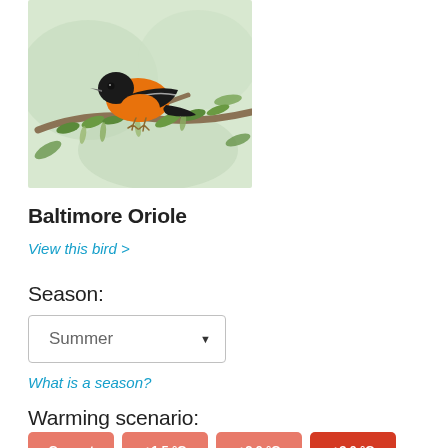[Figure (photo): A Baltimore Oriole bird with bright orange and black plumage perched on a green leafy branch]
Baltimore Oriole
View this bird >
Season:
Summer (dropdown selector)
What is a season?
Warming scenario:
Current  +1.5 °C  +2.0 °C  +3.0 °C